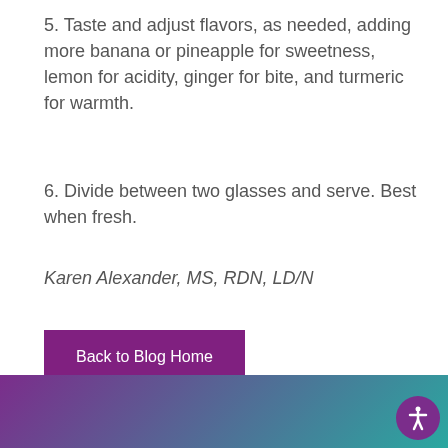5. Taste and adjust flavors, as needed, adding more banana or pineapple for sweetness, lemon for acidity, ginger for bite, and turmeric for warmth.
6. Divide between two glasses and serve. Best when fresh.
Karen Alexander, MS, RDN, LD/N
Back to Blog Home